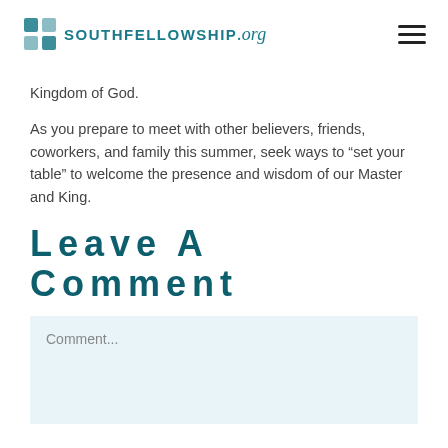SOUTHFELLOWSHIP.org
Kingdom of God.
As you prepare to meet with other believers, friends, coworkers, and family this summer, seek ways to “set your table” to welcome the presence and wisdom of our Master and King.
Leave A Comment
Comment...